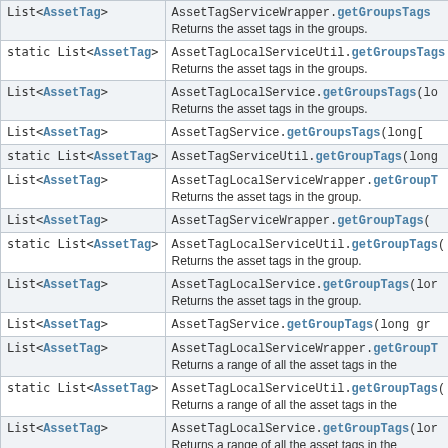| Type | Method |
| --- | --- |
| List<AssetTag> | AssetTagServiceWrapper.getGroupsTags
Returns the asset tags in the groups. |
| static List<AssetTag> | AssetTagLocalServiceUtil.getGroupsTags
Returns the asset tags in the groups. |
| List<AssetTag> | AssetTagLocalService.getGroupsTags(lo
Returns the asset tags in the groups. |
| List<AssetTag> | AssetTagService.getGroupsTags(long[] |
| static List<AssetTag> | AssetTagServiceUtil.getGroupTags(long |
| List<AssetTag> | AssetTagLocalServiceWrapper.getGroupT
Returns the asset tags in the group. |
| List<AssetTag> | AssetTagServiceWrapper.getGroupTags( |
| static List<AssetTag> | AssetTagLocalServiceUtil.getGroupTags(
Returns the asset tags in the group. |
| List<AssetTag> | AssetTagLocalService.getGroupTags(lor
Returns the asset tags in the group. |
| List<AssetTag> | AssetTagService.getGroupTags(long gr |
| List<AssetTag> | AssetTagLocalServiceWrapper.getGroupT
Returns a range of all the asset tags in the |
| static List<AssetTag> | AssetTagLocalServiceUtil.getGroupTags(
Returns a range of all the asset tags in the |
| List<AssetTag> | AssetTagLocalService.getGroupTags(lor
Returns a range of all the asset tags in the |
| static List<AssetTag> | AssetTagServiceUtil.getGroupTags(long
OrderByComparator<AssetTag> obc) |